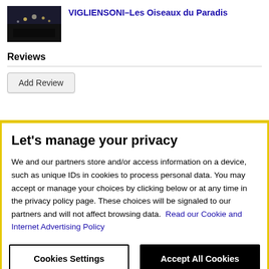[Figure (screenshot): Video thumbnail with dark night scene and lights, duration 6:03]
VIGLIENSONI–Les Oiseaux du Paradis
Reviews
Add Review
Let's manage your privacy
We and our partners store and/or access information on a device, such as unique IDs in cookies to process personal data. You may accept or manage your choices by clicking below or at any time in the privacy policy page. These choices will be signaled to our partners and will not affect browsing data. Read our Cookie and Internet Advertising Policy
Cookies Settings
Accept All Cookies